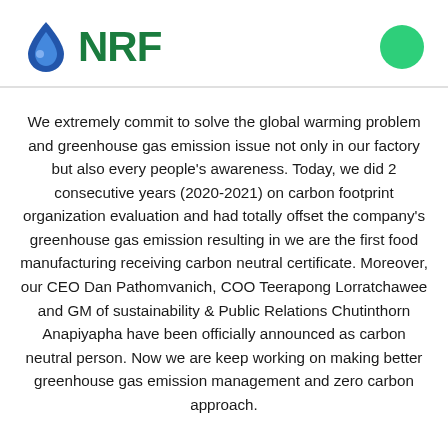NRF
We extremely commit to solve the global warming problem and greenhouse gas emission issue not only in our factory but also every people's awareness. Today, we did 2 consecutive years (2020-2021) on carbon footprint organization evaluation and had totally offset the company's greenhouse gas emission resulting in we are the first food manufacturing receiving carbon neutral certificate. Moreover, our CEO Dan Pathomvanich, COO Teerapong Lorratchawee and GM of sustainability & Public Relations Chutinthorn Anapiyapha have been officially announced as carbon neutral person. Now we are keep working on making better greenhouse gas emission management and zero carbon approach.